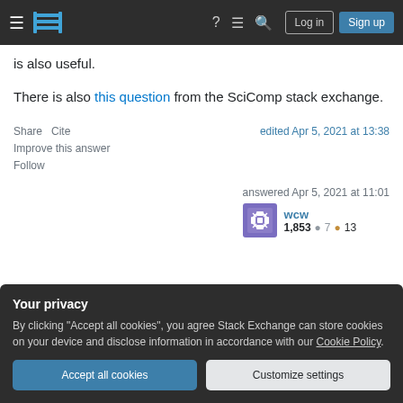Stack Exchange navigation bar with hamburger menu, logo, help, chat, search icons, Log in and Sign up buttons
is also useful.
There is also this question from the SciComp stack exchange.
Share   Cite   edited Apr 5, 2021 at 13:38
Improve this answer
Follow
answered Apr 5, 2021 at 11:01
wcw
1,853 ●7 ●13
Your privacy
By clicking "Accept all cookies", you agree Stack Exchange can store cookies on your device and disclose information in accordance with our Cookie Policy.